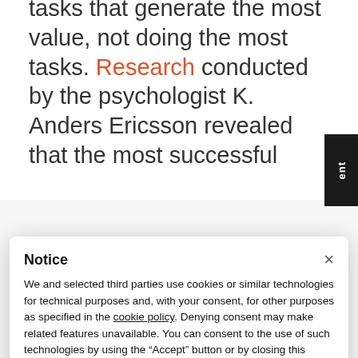tasks that generate the most value, not doing the most tasks. Research conducted by the psychologist K. Anders Ericsson revealed that the most successful
Notice
We and selected third parties use cookies or similar technologies for technical purposes and, with your consent, for other purposes as specified in the cookie policy. Denying consent may make related features unavailable. You can consent to the use of such technologies by using the “Accept” button or by closing this notice.
Accept
Learn more and customize